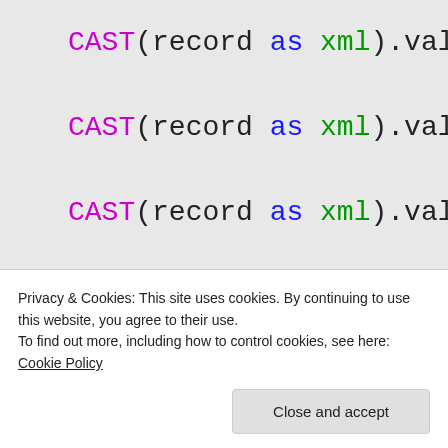CAST(record as xml).value('
    CAST(record as xml).value('
    CAST(record as xml).value('
    tme.ms_ticks as [Current Ti
from sys.dm_os_ring_buffers rbf
cross join sys.dm_os_sys_info t
where rbf.ring_buffer_type = 'R
ORDER BY rbf.timestamp ASC
Privacy & Cookies: This site uses cookies. By continuing to use this website, you agree to their use. To find out more, including how to control cookies, see here: Cookie Policy